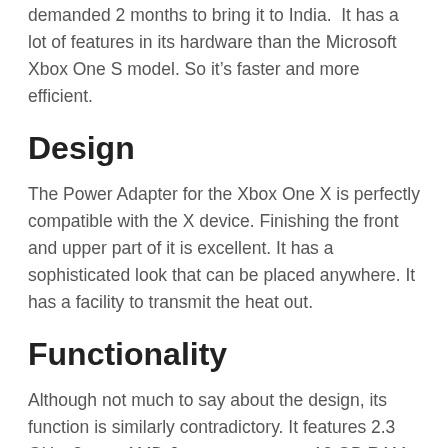demanded 2 months to bring it to India.  It has a lot of features in its hardware than the Microsoft Xbox One S model. So it's faster and more efficient.
Design
The Power Adapter for the Xbox One X is perfectly compatible with the X device. Finishing the front and upper part of it is excellent. It has a sophisticated look that can be placed anywhere. It has a facility to transmit the heat out.
Functionality
Although not much to say about the design, its function is similarly contradictory. It features 2.3 GHz, 8 core AMD Jaguar processor, 12 GB RAM, 6 Tera flap AMD Radius GPU. This creates a lot of